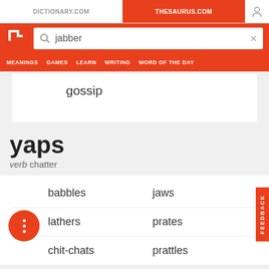DICTIONARY.COM | THESAURUS.COM
[Figure (screenshot): Thesaurus.com logo - white T on red background]
jabber
MEANINGS  GAMES  LEARN  WRITING  WORD OF THE DAY
gossip
yaps
verb chatter
babbles
jaws
lathers
prates
chit-chats
prattles